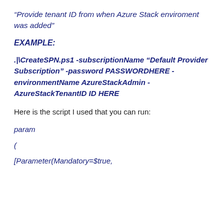“Provide tenant ID from when Azure Stack enviroment was added”
EXAMPLE:
.\CreateSPN.ps1 -subscriptionName “Default Provider Subscription” -password PASSWORDHERE -environmentName AzureStackAdmin -AzureStackTenantID ID HERE
Here is the script I used that you can run:
param
(
[Parameter(Mandatory=$true,